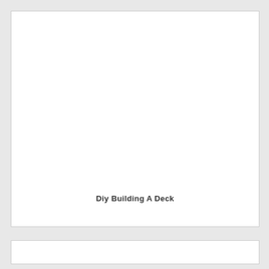[Figure (other): Large white rectangular box, mostly blank/white space forming the main content area of the page]
Diy Building A Deck
[Figure (other): Small white rectangular box at the bottom of the page, partially visible]